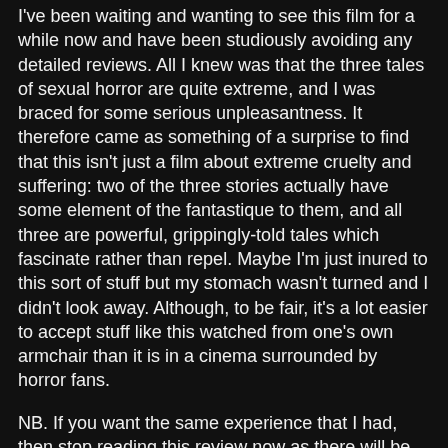I've been waiting and wanting to see this film for a while now and have been studiously avoiding any detailed reviews. All I knew was that the three tales of sexual horror are quite extreme, and I was braced for some serious unpleasantness. It therefore came as something of a surprise to find that this isn't just a film about extreme cruelty and suffering: two of the three stories actually have some element of the fantastique to them, and all three are powerful, grippingly-told tales which fascinate rather than repel. Maybe I'm just inured to this sort of stuff but my stomach wasn't turned and I didn't look away. Although, to be fair, it's a lot easier to accept stuff like this watched from one's own armchair than it is in a cinema surrounded by horror fans.
NB. If you want the same experience that I had, then stop reading this review now as there will be some details in the ensuing descriptions, although I will try to avoid actual spoilers.
We kick off with 'House and Home', directed by Sean Hogan , whose debut feature Lie Still is positively reviewed by me in Urban Terrors and whose sophomore effort The Devil's